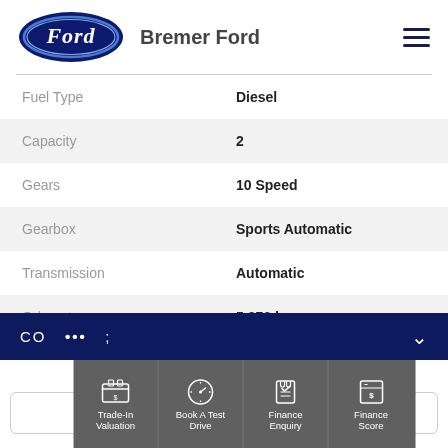[Figure (logo): Ford oval logo in dark navy blue with white cursive Ford text]
Bremer Ford
| Attribute | Value |
| --- | --- |
| Fuel Type | Diesel |
| Capacity | 2 |
| Gears | 10 Speed |
| Gearbox | Sports Automatic |
| Transmission | Automatic |
| Odometer | 5,376 kms |
| Drive Type | 4WD |
CO ... ;
[Figure (infographic): Bottom action bar with four icons: Trade-In Valuation, Book A Test Drive, Finance Enquiry, Finance Score]